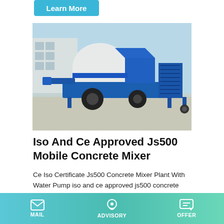Learn More
[Figure (photo): Blue and white mobile concrete mixer (Js500) parked outdoors on a paved surface with a building in the background]
Iso And Ce Approved Js500 Mobile Concrete Mixer
Ce Iso Certificate Js500 Concrete Mixer Plant With Water Pump iso and ce approved js500 concrete plant. ce iso certificate js500 concrete mixer with. 9 concrete mixer,concrete batching plant,tower crane,construction lifter. search. ce iso certificate js500 concrete mixer with water
MAIL   ADVISORY   OFFER